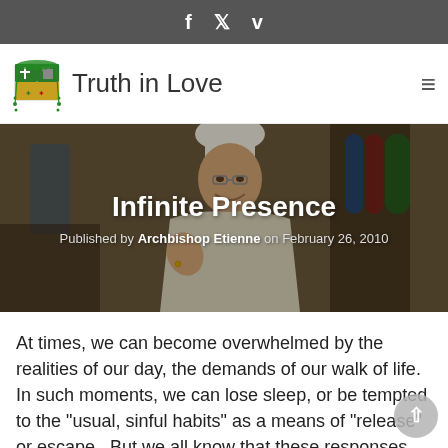f  y  v
Truth in Love
[Figure (photo): Archbishop Etienne smiling in vestments and mitre, with stained glass windows visible in background. Hero image for the blog post 'Infinite Presence'.]
Infinite Presence
Published by Archbishop Etienne on February 26, 2010
At times, we can become overwhelmed by the realities of our day, the demands of our walk of life.  In such moments, we can lose sleep, or be tempted to the "usual, sinful habits" as a means of "release" or escape.  But we all know that these responses never really work, but only add to the